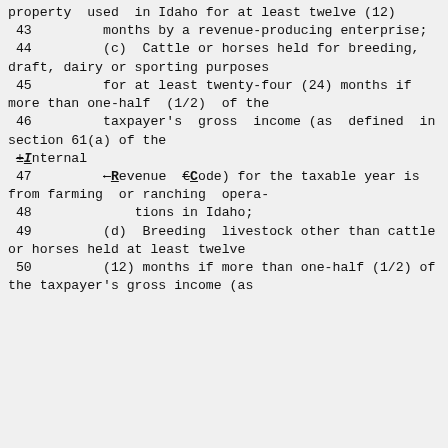property  used  in Idaho for at least twelve (12)
 43         months by a revenue-producing enterprise;
 44         (c)  Cattle or horses held for breeding, draft, dairy or sporting purposes
 45         for at least twenty-four (24) months if more than one-half  (1/2)  of the
 46         taxpayer's  gross  income (as  defined  in section 61(a) of the ±Internal
 47         ←Revenue  €Code) for the taxable year is from farming  or ranching  opera-
 48             tions in Idaho;
 49         (d)  Breeding  livestock other than cattle or horses held at least twelve
 50         (12) months if more than one-half (1/2) of the taxpayer's gross income (as